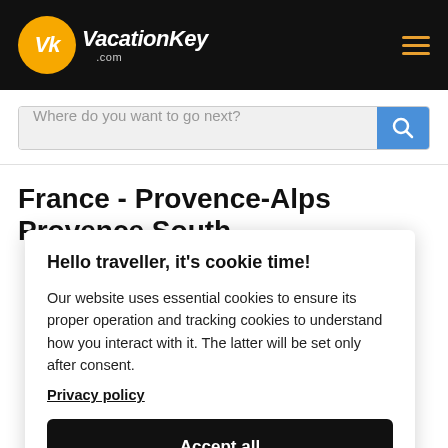VacationKey.com
Where do you want to go next?
France - Provence-Alps Provence South
Hello traveller, it's cookie time!
Our website uses essential cookies to ensure its proper operation and tracking cookies to understand how you interact with it. The latter will be set only after consent. Privacy policy
Accept all
Preferences